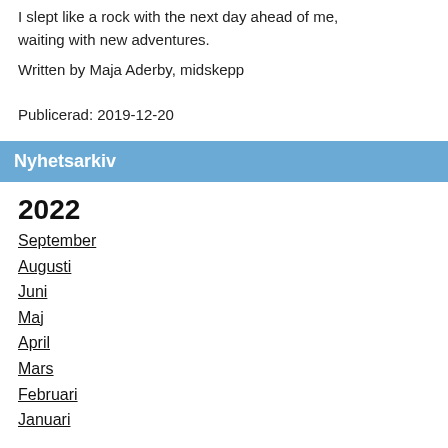I slept like a rock with the next day ahead of me, waiting with new adventures.
Written by Maja Aderby, midskepp
Publicerad: 2019-12-20
Nyhetsarkiv
2022
September
Augusti
Juni
Maj
April
Mars
Februari
Januari